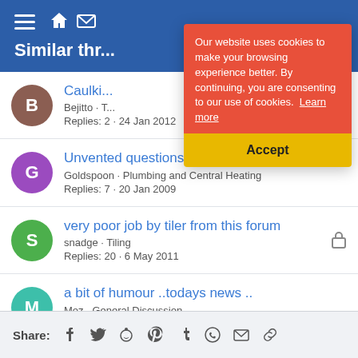Similar threads
Caulki... · Bejitto · T... · Replies: 2 · 24 Jan 2012
Unvented questions · Goldspoon · Plumbing and Central Heating · Replies: 7 · 20 Jan 2009
very poor job by tiler from this forum · snadge · Tiling · Replies: 20 · 6 May 2011
a bit of humour ..todays news .. · Moz · General Discussion · Replies: 2 · 22 Jul 2005
Our website uses cookies to make your browsing experience better. By continuing, you are consenting to our use of cookies. Learn more
Accept
Share: